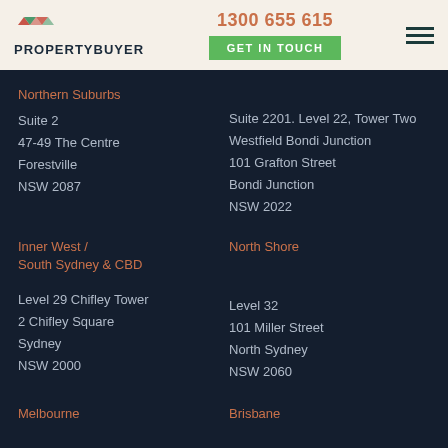PROPERTYBUYER | 1300 655 615 | GET IN TOUCH
Northern Suburbs
Suite 2
47-49 The Centre
Forestville
NSW 2087
Suite 2201. Level 22, Tower Two
Westfield Bondi Junction
101 Grafton Street
Bondi Junction
NSW 2022
Inner West /
South Sydney & CBD
North Shore
Level 29 Chifley Tower
2 Chifley Square
Sydney
NSW 2000
Level 32
101 Miller Street
North Sydney
NSW 2060
Melbourne
Brisbane